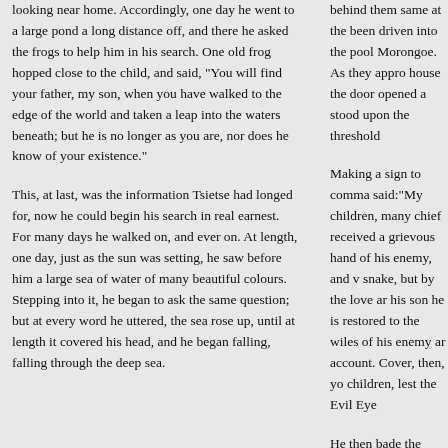looking near home. Accordingly, one day he went to a large pond a long distance off, and there he asked the frogs to help him in his search. One old frog hopped close to the child, and said, "You will find your father, my son, when you have walked to the edge of the world and taken a leap into the waters beneath; but he is no longer as you are, nor does he know of your existence."
This, at last, was the information Tsietse had longed for, now he could begin his search in real earnest. For many days he walked on, and ever on. At length, one day, just as the sun was setting, he saw before him a large sea of water of many beautiful colours. Stepping into it, he began to ask the same question; but at every word he uttered, the sea rose up, until at length it covered his head, and he began falling, falling through the deep sea.
behind them same at the been driven into the pool Morongoe. As they appro house the door opened a stood upon the threshold
Making a sign to comma said:"My children, many chief received a grievous hand of his enemy, and v snake, but by the love ar his son he is restored to the wiles of his enemy ar account. Cover, then, yo children, lest the Evil Eye
He then bade the snake, centre of the crowd, ente which he shut the door, a hut. The people, when th flames, cried out in horro doctor bade them be still would come to their chie great good. When everyt completely burnt, the doc middle of the ruins a larg